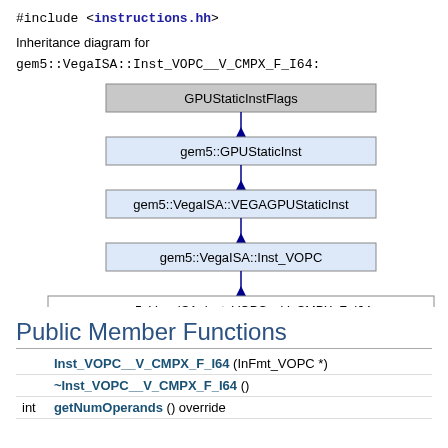#include <instructions.hh>
Inheritance diagram for
gem5::VegaISA::Inst_VOPC__V_CMPX_F_I64:
[Figure (other): Inheritance diagram showing: GPUStaticInstFlags at top (grey box), connected by arrow down to gem5::GPUStaticInst (light blue box), connected by arrow down to gem5::VegaISA::VEGAGPUStaticInst (light blue box), connected by arrow down to gem5::VegaISA::Inst_VOPC (light blue box), connected by arrow down to gem5::VegaISA::Inst_VOPC__V_CMPX_F_I64 (white box)]
Public Member Functions
|  |  |
| --- | --- |
|  | Inst_VOPC__V_CMPX_F_I64 (InFmt_VOPC *) |
|  | ~Inst_VOPC__V_CMPX_F_I64 () |
| int | getNumOperands () override |